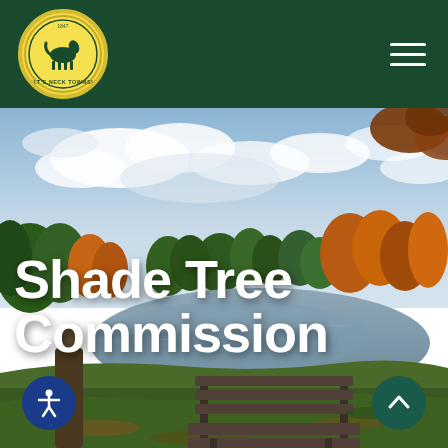[Figure (logo): Colt's Neck Township circular seal/logo with horse illustration on yellow background]
[Figure (photo): Autumn park scene with pond, bench in foreground, trees with fall foliage, cloudy sky]
Shade Tree Commission